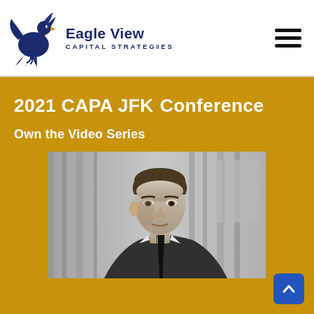[Figure (logo): Eagle View Capital Strategies logo with eagle graphic and text]
2021 CAPA JFK Conference
Own the Video Series
[Figure (photo): Black and white photograph of President John F. Kennedy]